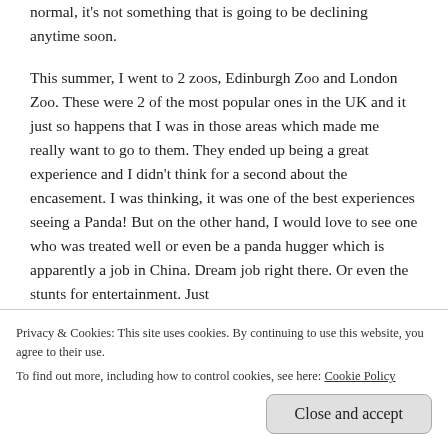normal, it's not something that is going to be declining anytime soon.
This summer, I went to 2 zoos, Edinburgh Zoo and London Zoo. These were 2 of the most popular ones in the UK and it just so happens that I was in those areas which made me really want to go to them. They ended up being a great experience and I didn't think for a second about the encasement. I was thinking, it was one of the best experiences seeing a Panda! But on the other hand, I would love to see one who was treated well or even be a panda hugger which is apparently a job in China. Dream job right there. Or even the stunts for entertainment. Just
Privacy & Cookies: This site uses cookies. By continuing to use this website, you agree to their use.
To find out more, including how to control cookies, see here: Cookie Policy